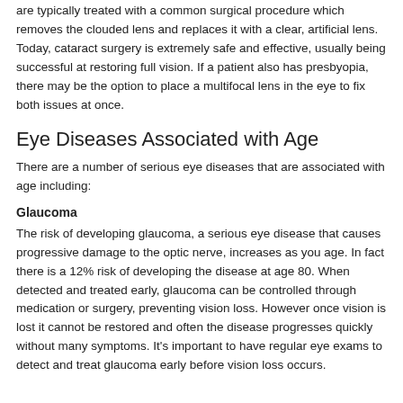are typically treated with a common surgical procedure which removes the clouded lens and replaces it with a clear, artificial lens. Today, cataract surgery is extremely safe and effective, usually being successful at restoring full vision. If a patient also has presbyopia, there may be the option to place a multifocal lens in the eye to fix both issues at once.
Eye Diseases Associated with Age
There are a number of serious eye diseases that are associated with age including:
Glaucoma
The risk of developing glaucoma, a serious eye disease that causes progressive damage to the optic nerve, increases as you age. In fact there is a 12% risk of developing the disease at age 80. When detected and treated early, glaucoma can be controlled through medication or surgery, preventing vision loss. However once vision is lost it cannot be restored and often the disease progresses quickly without many symptoms. It's important to have regular eye exams to detect and treat glaucoma early before vision loss occurs.